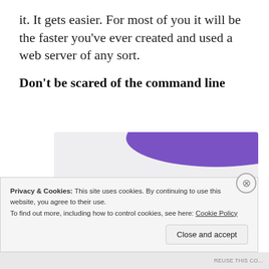it. It gets easier. For most of you it will be the faster you've ever created and used a web server of any sort.
Don't be scared of the command line
[Figure (illustration): Promotional illustration with purple and teal geometric shapes on a light gray background, with bold text reading 'How to start selling subscriptions online' and a purple button partially visible at bottom.]
Privacy & Cookies: This site uses cookies. By continuing to use this website, you agree to their use.
To find out more, including how to control cookies, see here: Cookie Policy
Close and accept
REUSE THIS CO...